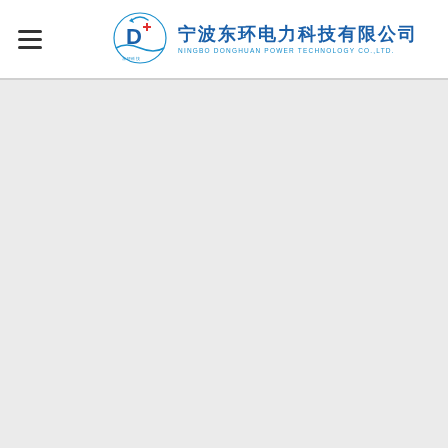宁波东环电力科技有限公司 NINGBO DONGHUAN POWER TECHNOLOGY CO.,LTD.
[Figure (logo): Company logo with circular emblem featuring the letter D and company name in Chinese and English]